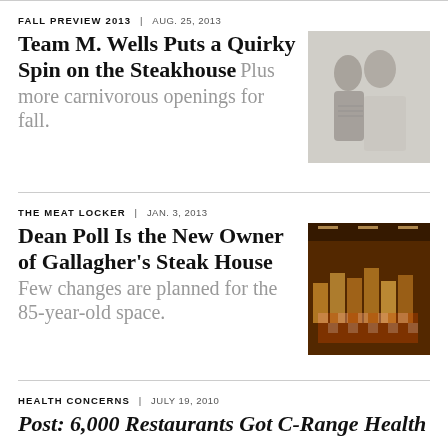FALL PREVIEW 2013 | AUG. 25, 2013
Team M. Wells Puts a Quirky Spin on the Steakhouse Plus more carnivorous openings for fall.
[Figure (photo): Black and white photo of a man and woman]
THE MEAT LOCKER | JAN. 3, 2013
Dean Poll Is the New Owner of Gallagher's Steak House Few changes are planned for the 85-year-old space.
[Figure (photo): Interior photo of a restaurant with checkered tablecloths and warm amber lighting]
HEALTH CONCERNS | JULY 19, 2010
Post: 6,000 Restaurants Got C-Range Health